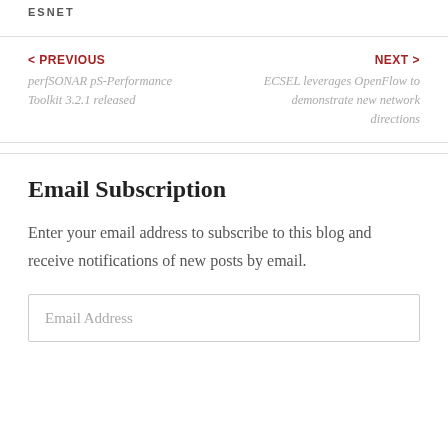ESNET
< PREVIOUS
perfSONAR pS-Performance Toolkit 3.2.1 released
NEXT >
ECSEL leverages OpenFlow to demonstrate new network directions
Email Subscription
Enter your email address to subscribe to this blog and receive notifications of new posts by email.
Email Address